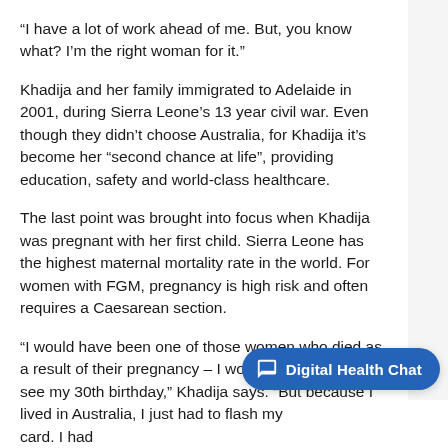“I have a lot of work ahead of me. But, you know what? I’m the right woman for it.”
Khadija and her family immigrated to Adelaide in 2001, during Sierra Leone’s 13 year civil war. Even though they didn’t choose Australia, for Khadija it’s become her “second chance at life”, providing education, safety and world-class healthcare.
The last point was brought into focus when Khadija was pregnant with her first child. Sierra Leone has the highest maternal mortality rate in the world. For women with FGM, pregnancy is high risk and often requires a Caesarean section.
“I would have been one of those women who died as a result of their pregnancy – I wouldn’t have lived to see my 30th birthday,” Khadija says. “But because I lived in Australia, I just had to flash my Medicare card. I had